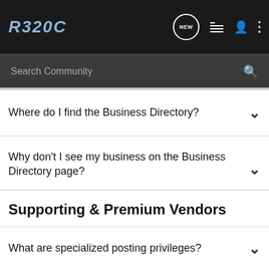R320C — navigation bar with logo, NEW button, list icon, person icon, dots icon
Search Community
Where do I find the Business Directory?
Why don't I see my business on the Business Directory page?
Supporting & Premium Vendors
What are specialized posting privileges?
What can I get from upgrading from Supporting to Premium vendor?